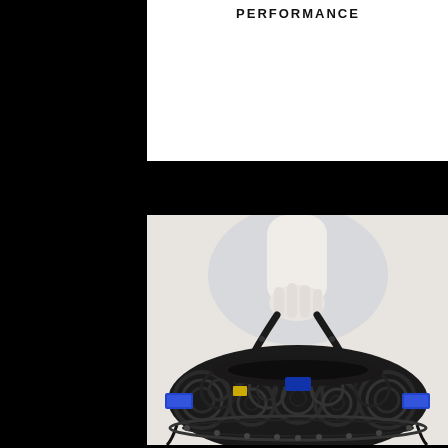PERFORMANCE
[Figure (photo): A fashion/art photograph showing a mannequin hand holding a sculptural handbag made entirely of coiled black cables and wires, with blue VGA connectors visible on the sides. The bag has a semi-circular dome shape covered in looped cables with a black fabric interior visible at the top. The background is a soft light grey/white.]